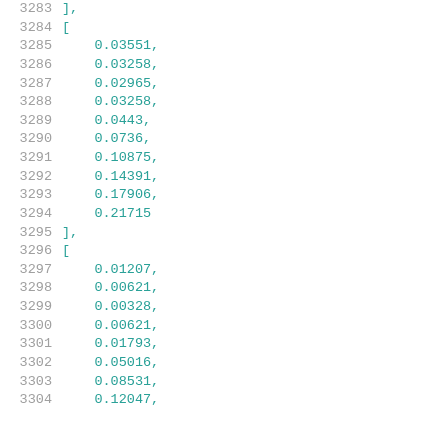3283    ],
3284    [
3285        0.03551,
3286        0.03258,
3287        0.02965,
3288        0.03258,
3289        0.0443,
3290        0.0736,
3291        0.10875,
3292        0.14391,
3293        0.17906,
3294        0.21715
3295    ],
3296    [
3297        0.01207,
3298        0.00621,
3299        0.00328,
3300        0.00621,
3301        0.01793,
3302        0.05016,
3303        0.08531,
3304        0.12047,